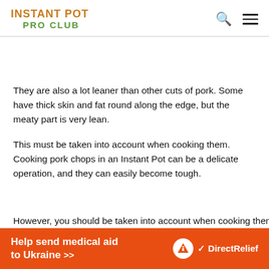INSTANT POT PRO CLUB
They are also a lot leaner than other cuts of pork. Some have thick skin and fat round along the edge, but the meaty part is very lean.
This must be taken into account when cooking them. Cooking pork chops in an Instant Pot can be a delicate operation, and they can easily become tough.
[Figure (other): Advertisement banner: Help send medical aid to Ukraine >> with DirectRelief logo]